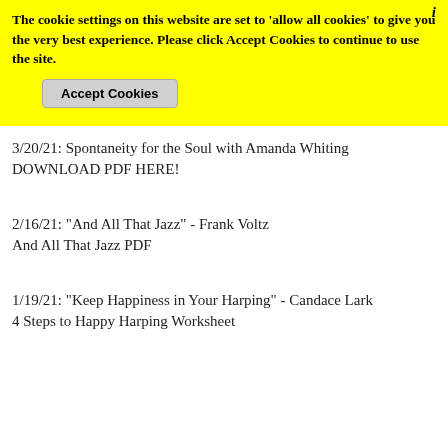The cookie settings on this website are set to 'allow all cookies' to give you the very best experience. Please click Accept Cookies to continue to use the site.
Accept Cookies
3/20/21: Spontaneity for the Soul with Amanda Whiting
DOWNLOAD PDF HERE!
2/16/21: "And All That Jazz" - Frank Voltz
And All That Jazz PDF
1/19/21: "Keep Happiness in Your Harping" - Candace Lark
4 Steps to Happy Harping Worksheet